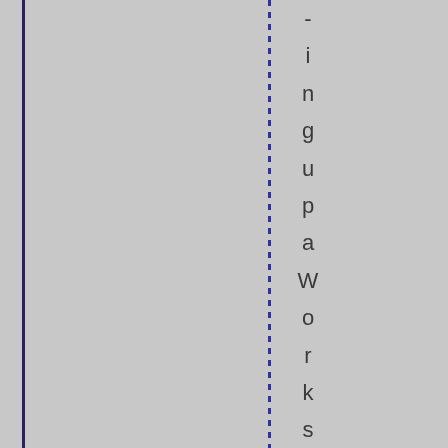-ingupaWorkshop/Studio by Carrie